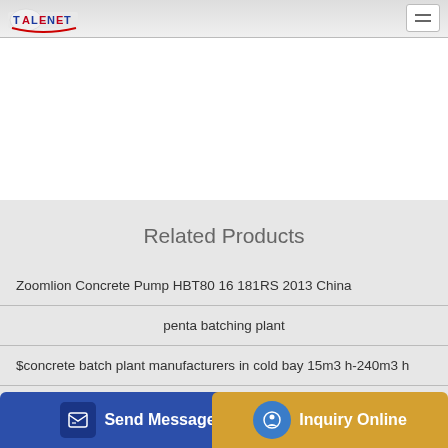TALENET logo header with menu button
Related Products
Zoomlion Concrete Pump HBT80 16 181RS 2013 China
penta batching plant
$concrete batch plant manufacturers in cold bay 15m3 h-240m3 h
Cement Truck Mixer Cartoon Phl
Send Message
Inquiry Online